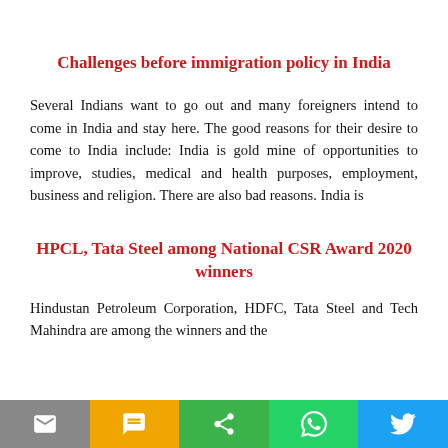Challenges before immigration policy in India
Several Indians want to go out and many foreigners intend to come in India and stay here. The good reasons for their desire to come to India include: India is gold mine of opportunities to improve, studies, medical and health purposes, employment, business and religion. There are also bad reasons. India is
HPCL, Tata Steel among National CSR Award 2020 winners
Hindustan Petroleum Corporation, HDFC, Tata Steel and Tech Mahindra are among the winners and the